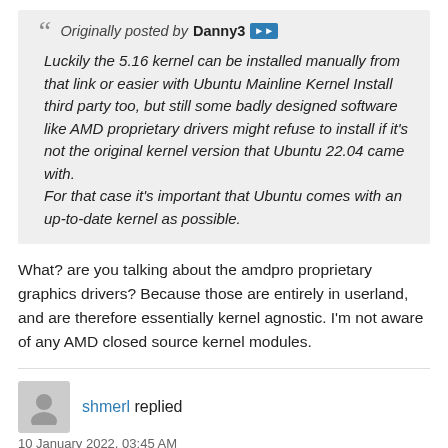Originally posted by Danny3 [>>]
Luckily the 5.16 kernel can be installed manually from that link or easier with Ubuntu Mainline Kernel Install third party too, but still some badly designed software like AMD proprietary drivers might refuse to install if it's not the original kernel version that Ubuntu 22.04 came with.
For that case it's important that Ubuntu comes with an up-to-date kernel as possible.
What? are you talking about the amdpro proprietary graphics drivers? Because those are entirely in userland, and are therefore essentially kernel agnostic. I'm not aware of any AMD closed source kernel modules.
shmerl replied
10 January 2022, 03:45 AM
Originally posted by CochainComplex [>>]